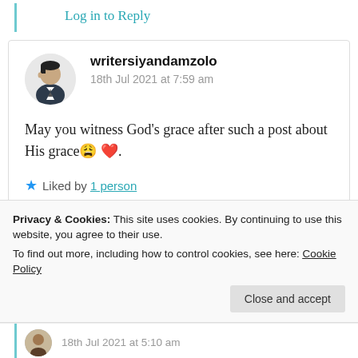Log in to Reply
writersiyandamzolo
18th Jul 2021 at 7:59 am
May you witness God's grace after such a post about His grace😩❤️.
★ Liked by 1 person
Log in to Reply
Privacy & Cookies: This site uses cookies. By continuing to use this website, you agree to their use.
To find out more, including how to control cookies, see here: Cookie Policy
Close and accept
18th Jul 2021 at 5:10 am